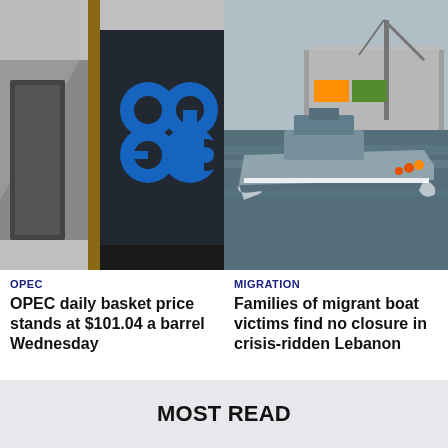[Figure (photo): OPEC building exterior with OPEC logo sign in blue on dark background]
OPEC
OPEC daily basket price stands at $101.04 a barrel Wednesday
[Figure (photo): Military or coast guard patrol boat on blue sea with port crane infrastructure in background]
MIGRATION
Families of migrant boat victims find no closure in crisis-ridden Lebanon
MOST READ